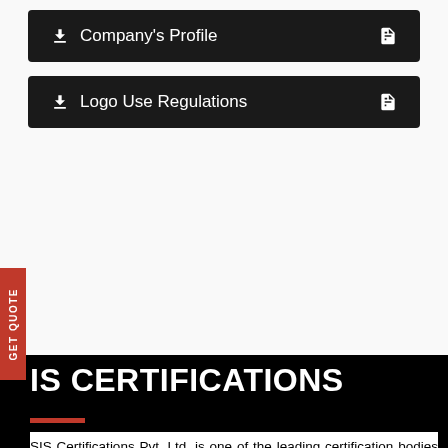⬇ Company's Profile
⬇ Logo Use Regulations
IS CERTIFICATIONS
SIS Certifications Pvt. Ltd. is one of the leading certification bodies for Management System Certifications. We are backed up by a highly professional and qualified team. Ever since we established ourselves in the year 2000 in India, we have been certifying the business enterprises from various sectors of economies for Read More